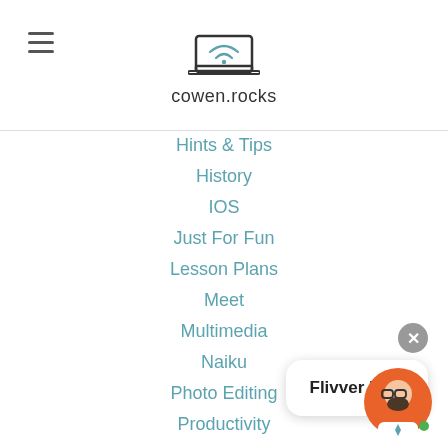[Figure (logo): cowen.rocks website logo - laptop with wifi symbol and site name]
Hints & Tips
History
IOS
Just For Fun
Lesson Plans
Meet
Multimedia
Naiku
Photo Editing
Productivity
Reading
Research
Science
Search
Sheets
Slides
Special Education
STEM
Flivver FAQ